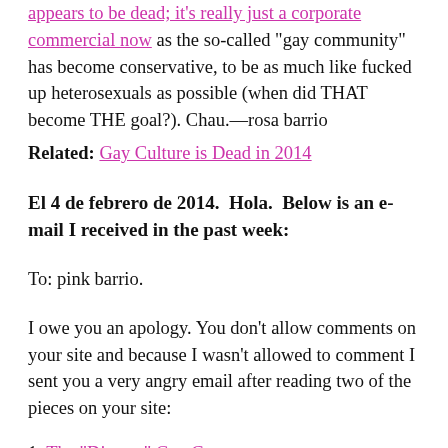appears to be dead; it's really just a corporate commercial now as the so-called “gay community” has become conservative, to be as much like fucked up heterosexuals as possible (when did THAT become THE goal?). Chau.—rosa barrio
Related: Gay Culture is Dead in 2014
El 4 de febrero de 2014.  Hola.  Below is an e-mail I received in the past week:
To: pink barrio.
I owe you an apology. You don’t allow comments on your site and because I wasn’t allowed to comment I sent you a very angry email after reading two of the pieces on your site:
1. The “Disgust” Gay C...